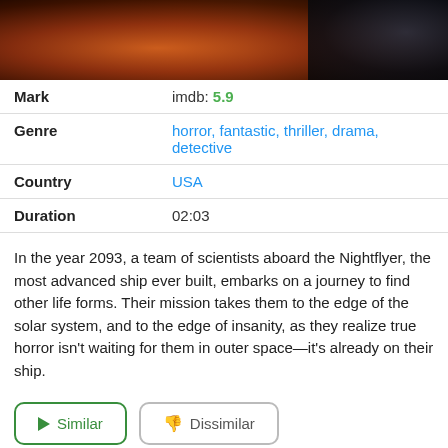[Figure (photo): Dark reddish-orange image, top of the page, likely a movie or TV show still with a fiery or alien texture visible.]
| Mark | imdb: 5.9 |
| Genre | horror, fantastic, thriller, drama, detective |
| Country | USA |
| Duration | 02:03 |
In the year 2093, a team of scientists aboard the Nightflyer, the most advanced ship ever built, embarks on a journey to find other life forms. Their mission takes them to the edge of the solar system, and to the edge of insanity, as they realize true horror isn't waiting for them in outer space—it's already on their ship.
Similar
Dissimilar